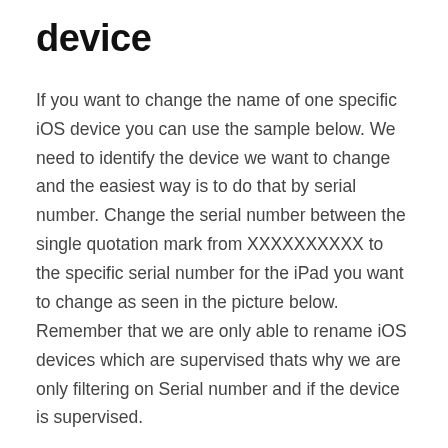device
If you want to change the name of one specific iOS device you can use the sample below. We need to identify the device we want to change and the easiest way is to do that by serial number. Change the serial number between the single quotation mark from XXXXXXXXXX to the specific serial number for the iPad you want to change as seen in the picture below. Remember that we are only able to rename iOS devices which are supervised thats why we are only filtering on Serial number and if the device is supervised.
In this example we are changing the name